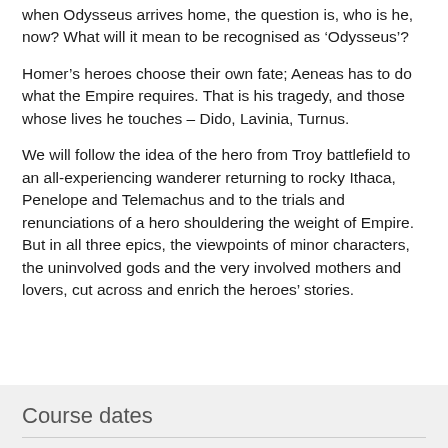when Odysseus arrives home, the question is, who is he, now? What will it mean to be recognised as ‘Odysseus’?
Homer’s heroes choose their own fate; Aeneas has to do what the Empire requires. That is his tragedy, and those whose lives he touches – Dido, Lavinia, Turnus.
We will follow the idea of the hero from Troy battlefield to an all-experiencing wanderer returning to rocky Ithaca, Penelope and Telemachus and to the trials and renunciations of a hero shouldering the weight of Empire. But in all three epics, the viewpoints of minor characters, the uninvolved gods and the very involved mothers and lovers, cut across and enrich the heroes’ stories.
Course dates